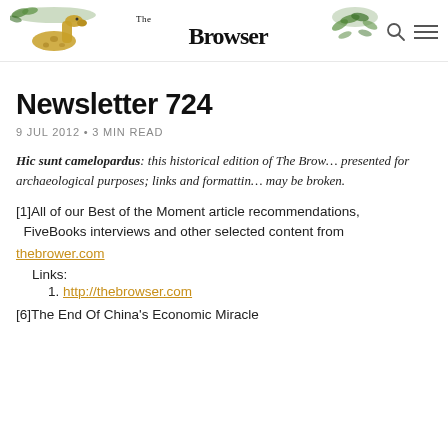The Browser
Newsletter 724
9 JUL 2012 • 3 MIN READ
Hic sunt camelopardus: this historical edition of The Browser is presented for archaeological purposes; links and formatting may be broken.
[1]All of our Best of the Moment article recommendations, FiveBooks interviews and other selected content from thebrower.com
Links:
1. http://thebrowser.com
[6]The End Of China's Economic Miracle